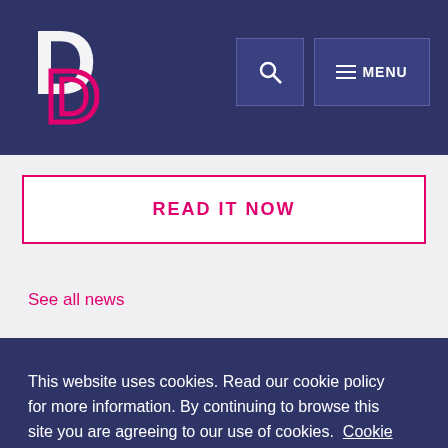[Figure (logo): DD logo — stylized white D with pink D overlapping, on dark navy background]
READ IT NOW
See all news
This website uses cookies. Read our cookie policy for more information. By continuing to browse this site you are agreeing to our use of cookies.  Cookie Policy
Dismiss